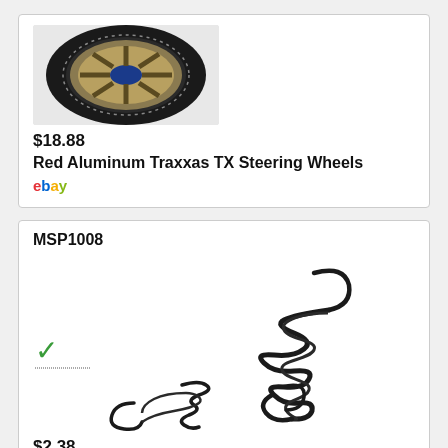[Figure (photo): RC car wheel with blue and gold aluminum beadlock design on black tire]
$18.88
Red Aluminum Traxxas TX Steering Wheels
ebay
MSP1008
[Figure (photo): Two black coiled tension springs with hook ends, one large and one small]
$2.38
1/10 manfold and return spring
amazon ebay